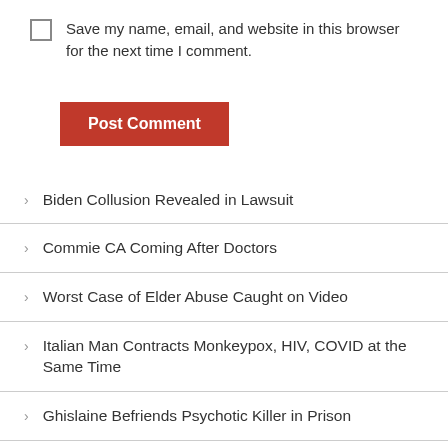Save my name, email, and website in this browser for the next time I comment.
Post Comment
Biden Collusion Revealed in Lawsuit
Commie CA Coming After Doctors
Worst Case of Elder Abuse Caught on Video
Italian Man Contracts Monkeypox, HIV, COVID at the Same Time
Ghislaine Befriends Psychotic Killer in Prison
Breaking News